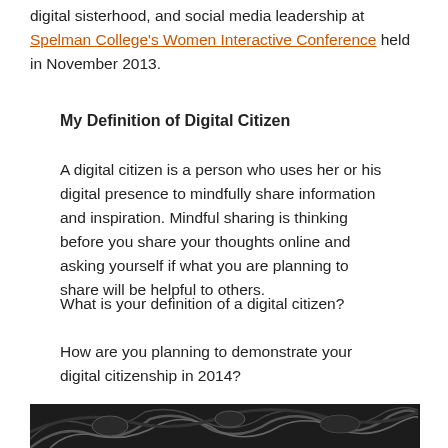digital sisterhood, and social media leadership at Spelman College's Women Interactive Conference held in November 2013.
My Definition of Digital Citizen
A digital citizen is a person who uses her or his digital presence to mindfully share information and inspiration. Mindful sharing is thinking before you share your thoughts online and asking yourself if what you are planning to share will be helpful to others.
What is your definition of a digital citizen?
How are you planning to demonstrate your digital citizenship in 2014?
[Figure (photo): Abstract black and white image of tree branches or similar natural pattern]